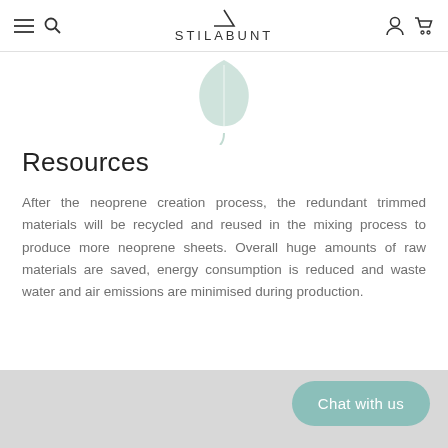STILABUNT
[Figure (illustration): A light green leaf illustration centered at the top of the content area]
Resources
After the neoprene creation process, the redundant trimmed materials will be recycled and reused in the mixing process to produce more neoprene sheets. Overall huge amounts of raw materials are saved, energy consumption is reduced and waste water and air emissions are minimised during production.